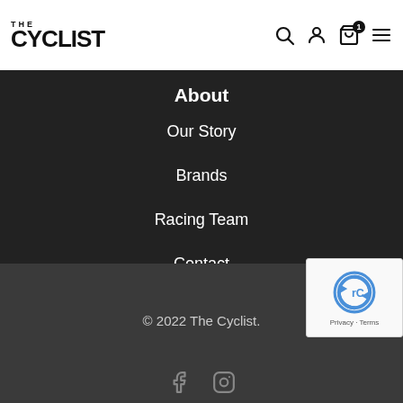THE CYCLIST (logo with search, account, cart, menu icons)
About
Our Story
Brands
Racing Team
Contact
© 2022 The Cyclist.